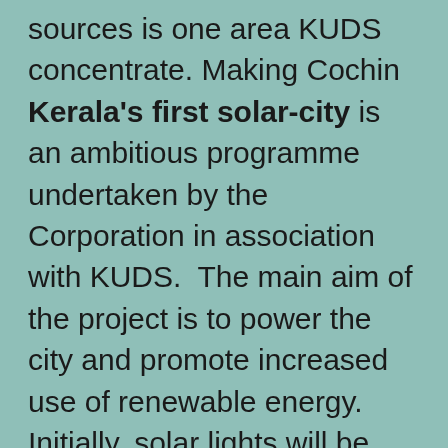sources is one area KUDS concentrate. Making Cochin Kerala's first solar-city is an ambitious programme undertaken by the Corporation in association with KUDS.  The main aim of the project is to power the city and promote increased use of renewable energy. Initially, solar lights will be installed at public places including Subhash Chandra Bose Park, Fort Kochi Nehru Park, Kunnara Park, Fort Kochi beach and Jankar Jetty. Early this year KUDS planned and organized a public presentation about a Enviromental and Ecofriendly energy concept in association with Synergy Environics. (details of all activities